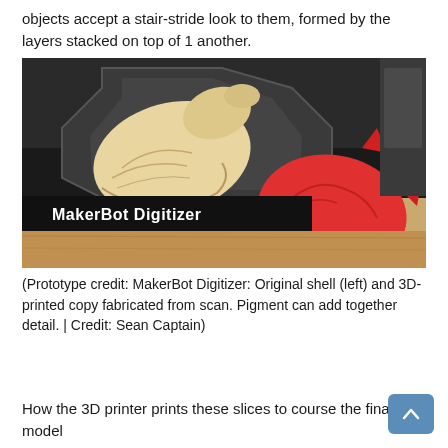objects accept a stair-stride look to them, formed by the layers stacked on top of 1 another.
[Figure (photo): MakerBot Digitizer device with an original conch shell (left, tan/cream colored) and a 3D-printed red copy of the shell on a wooden surface in front of the device.]
(Prototype credit: MakerBot Digitizer: Original shell (left) and 3D-printed copy fabricated from scan. Pigment can add together detail. | Credit: Sean Captain)
How the 3D printer prints these slices to course the final model